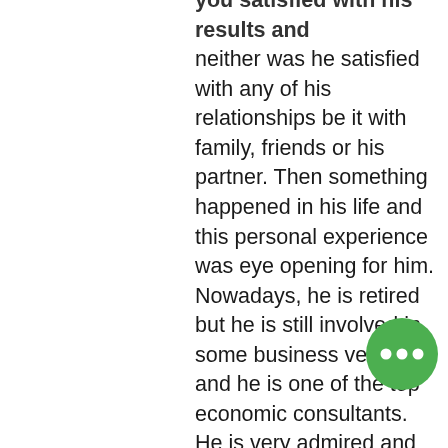you satisfied with his results and neither was he satisfied with any of his relationships be it with family, friends or his partner. Then something happened in his life and this personal experience was eye opening for him. Nowadays, he is retired but he is still involved in some business ventures and he is one of the top economic consultants. He is very admired and respected. You see, it makes no difference whether a person had been good or bad in the past. Your situation can always be improved upon and it is the small act of refining something that is already good that can truly make it great. Here is a test. In the next 30 days act towards the world with everything and everyone with whom...